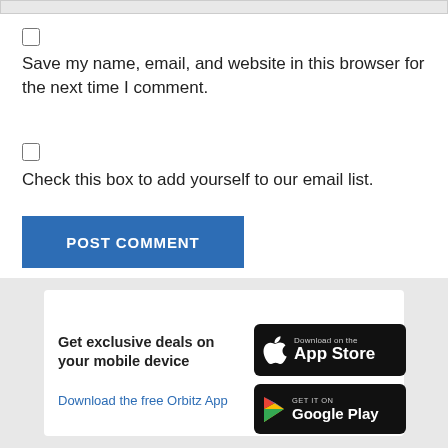Save my name, email, and website in this browser for the next time I comment.
Check this box to add yourself to our email list.
POST COMMENT
Get exclusive deals on your mobile device
Download the free Orbitz App
[Figure (screenshot): App Store and Google Play download badges]